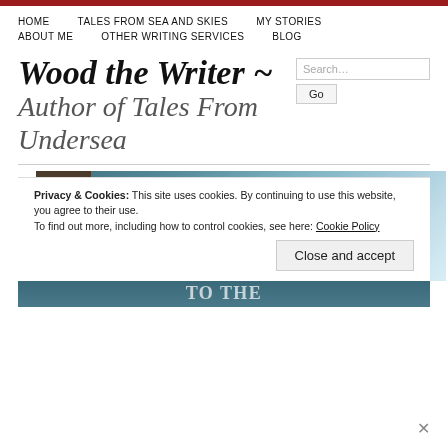HOME   TALES FROM SEA AND SKIES   MY STORIES   ABOUT ME   OTHER WRITING SERVICES   BLOG
Wood the Writer ~
Author of Tales From Undersea
[Figure (illustration): Book cover banner for Jessica Wood showing the book spine with 'JESSICA WOOD' label and a circular blue emblem, against an ocean/sky background.]
Privacy & Cookies: This site uses cookies. By continuing to use this website, you agree to their use.
To find out more, including how to control cookies, see here: Cookie Policy
Close and accept